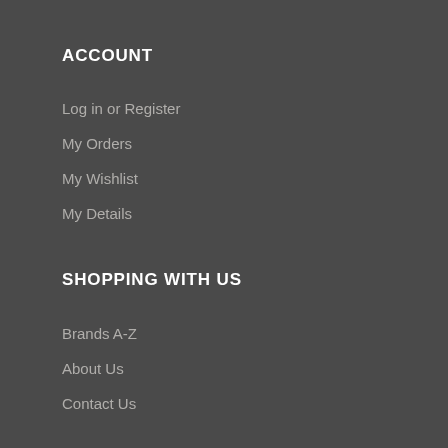ACCOUNT
Log in or Register
My Orders
My Wishlist
My Details
SHOPPING WITH US
Brands A-Z
About Us
Contact Us